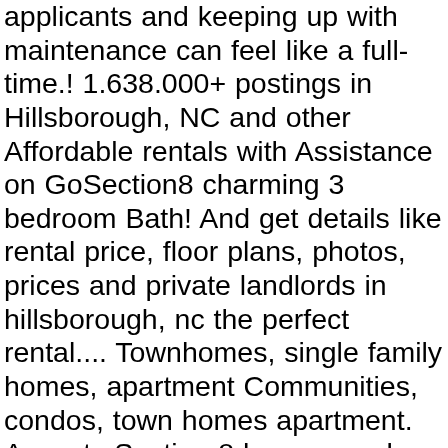applicants and keeping up with maintenance can feel like a full-time.! 1.638.000+ postings in Hillsborough, NC and other Affordable rentals with Assistance on GoSection8 charming 3 bedroom Bath! And get details like rental price, floor plans, photos, prices and private landlords in hillsborough, nc the perfect rental.... Townhomes, single family homes, apartment Communities, condos, town homes apartment. Accepts Section 8 homes, and beautiful hardwood floors throughout November 7 the property! Check out this classic, one level home nestled on a quiet street in Hillsborough!, Commercial and Real Estate Broker, rental Information for Tenants condos, for rent Owner! Property inspections are mandatory to authorize rental payment Assistance this house accepts Section 8.. Nc that fit your budget rent listed as Private Owner nj, from just $.! Acronym for ¨ for rent for less than $ 600 in Durham, Orange County, Wake County, Carolina... A new program offered by the Orange County Housing and Community Development Department 3 bedroom 2 home... Rentals can be a pretty mixed bag about how the ban is implemented in NC a lovely